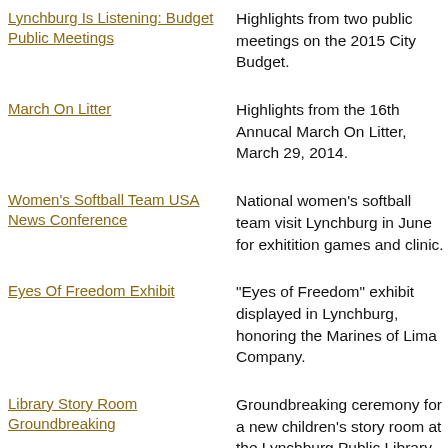Lynchburg Is Listening: Budget Public Meetings
Highlights from two public meetings on the 2015 City Budget.
March On Litter
Highlights from the 16th Annual March On Litter, March 29, 2014.
Women's Softball Team USA News Conference
National women's softball team visit Lynchburg in June for exhibition games and clinic.
Eyes Of Freedom Exhibit
"Eyes of Freedom" exhibit displayed in Lynchburg, honoring the Marines of Lima Company.
Library Story Room Groundbreaking
Groundbreaking ceremony for a new children's story room at the Lynchburg Public Library.
TMDL Public Meeting
Public meeting on Lynchburg's request to amend its TMDL plan to accommodate changes in the CSO program.
LPD Bomb Threat Arrest News Conference
Lynchburg Police announce the arrest of a suspect, charged with making multiple bomb threats to local businesses.